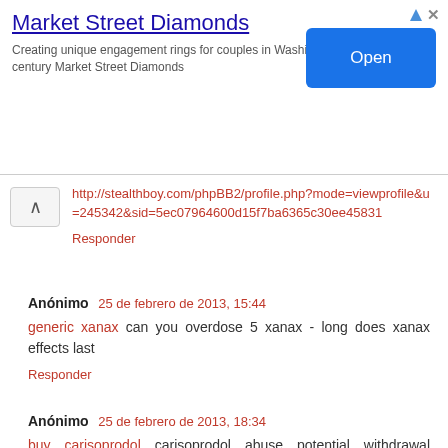[Figure (screenshot): Advertisement banner for Market Street Diamonds with title, description text, and blue Open button]
http://stealthboy.com/phpBB2/profile.php?mode=viewprofile&u=245342&sid=5ec07964600d15f7ba6365c30ee45831
Responder
Anónimo 25 de febrero de 2013, 15:44
generic xanax can you overdose 5 xanax - long does xanax effects last
Responder
Anónimo 25 de febrero de 2013, 18:34
buy carisoprodol carisoprodol abuse potential withdrawal syndrome - carisoprodol 5 panel drug test
Responder